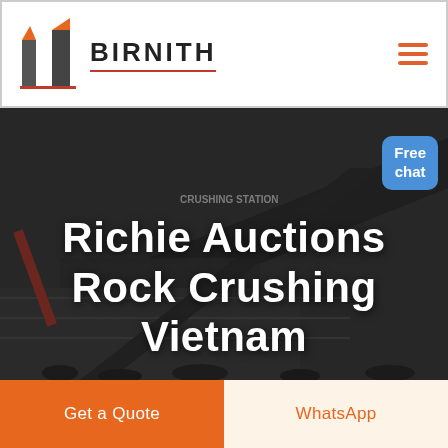[Figure (logo): Birnith company logo: orange and dark construction building icon with BIRNITH text]
BIRNITH
[Figure (photo): Industrial rock crushing station machinery with dark industrial equipment and falling rocks, dark/grey toned background photo]
Richie Auctions Rock Crushing Vietnam
Free chat
Get a Quote
WhatsApp